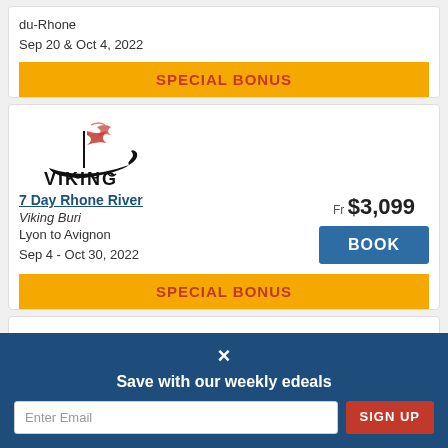du-Rhone
Sep 20 & Oct 4, 2022
SPECIAL BONUS
[Figure (logo): Viking Cruises logo with longship and VIKING text]
7 Day Rhone River
Viking Buri
Lyon to Avignon
Sep 4 - Oct 30, 2022
Fr $3,099
BOOK
SPECIAL BONUS
[Figure (illustration): Loading spinner circle]
7 Day Rhone River with Nice
Fr $3,800
×
Save with our weekly edeals
Enter Email
SIGN UP